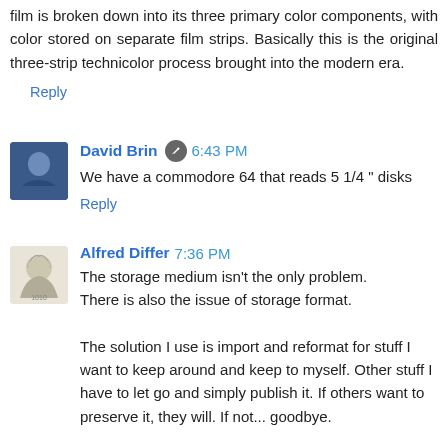film is broken down into its three primary color components, with color stored on separate film strips. Basically this is the original three-strip technicolor process brought into the modern era.
Reply
David Brin 6:43 PM
We have a commodore 64 that reads 5 1/4 " disks
Reply
Alfred Differ 7:36 PM
The storage medium isn't the only problem.
There is also the issue of storage format.

The solution I use is import and reformat for stuff I want to keep around and keep to myself. Other stuff I have to let go and simply publish it. If others want to preserve it, they will. If not... goodbye.